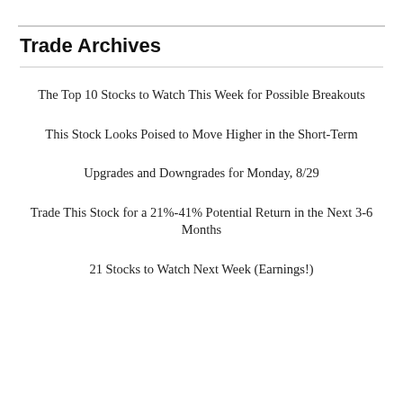Trade Archives
The Top 10 Stocks to Watch This Week for Possible Breakouts
This Stock Looks Poised to Move Higher in the Short-Term
Upgrades and Downgrades for Monday, 8/29
Trade This Stock for a 21%-41% Potential Return in the Next 3-6 Months
21 Stocks to Watch Next Week (Earnings!)